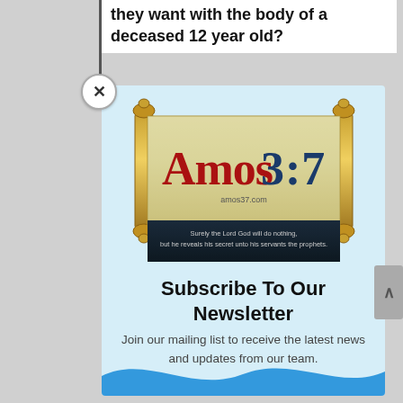they want with the body of a deceased 12 year old?
[Figure (logo): Amos 3:7 website logo showing a Torah scroll with the text 'Amos 3:7' and subtitle 'Surely the Lord God will do nothing, but he reveals his secret unto his servants the prophets.' and 'amos37.com']
Subscribe To Our Newsletter
Join our mailing list to receive the latest news and updates from our team.